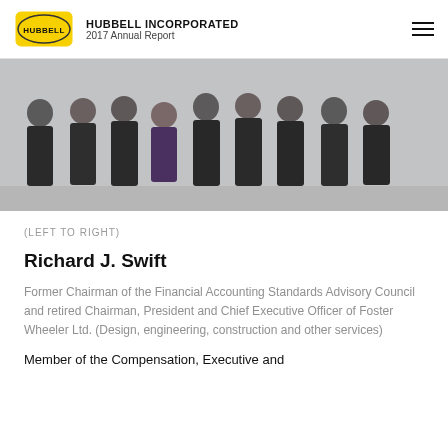HUBBELL INCORPORATED 2017 Annual Report
[Figure (photo): Group photo of nine Hubbell Incorporated board members or executives standing in formal business attire, posed left to right against a light background.]
(LEFT TO RIGHT)
Richard J. Swift
Former Chairman of the Financial Accounting Standards Advisory Council and retired Chairman, President and Chief Executive Officer of Foster Wheeler Ltd. (Design, engineering, construction and other services)
Member of the Compensation, Executive and